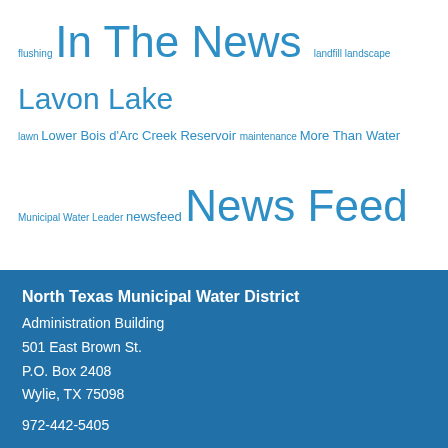flushing In The News landfill landscape Lavon Lake lawn Lower Bois d'Arc Creek Reservoir maintenance More Than Water Municipal Water Leader newsfeed News Feed newsletter News Story North Texas Commission Magazine Portal Princeton solid waste trees Wastewater Wastewater Partnering water water conservation Water Partnering water quality water rates watershed wetland wilson creek Wylie water treatment plant
North Texas Municipal Water District
Administration Building
501 East Brown St.
P.O. Box 2408
Wylie, TX 75098

972-442-5405